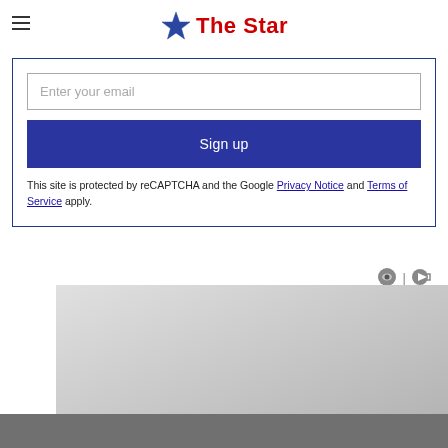[Figure (logo): The Star newspaper logo with blue star icon and red 'The Star' text]
Enter your email
Sign up
This site is protected by reCAPTCHA and the Google Privacy Notice and Terms of Service apply.
[Figure (other): Ad network icons (eye/privacy icon and play/sponsor icon)]
[Figure (other): Advertisement image placeholder with gradient gray background]